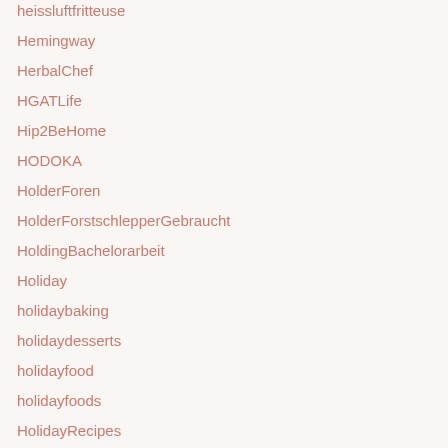heissluftfritteuse
Hemingway
HerbalChef
HGATLife
Hip2BeHome
HODOKA
HolderForen
HolderForstschlepperGebraucht
HoldingBachelorarbeit
Holiday
holidaybaking
holidaydesserts
holidayfood
holidayfoods
HolidayRecipes